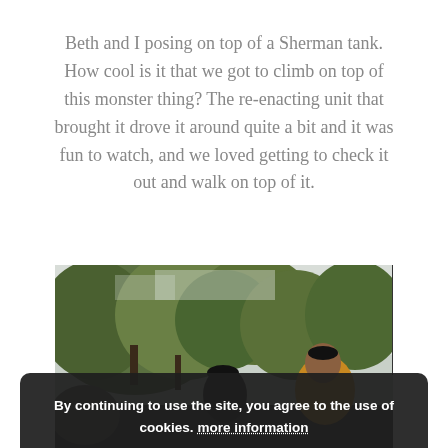Beth and I posing on top of a Sherman tank. How cool is it that we got to climb on top of this monster thing? The re-enacting unit that brought it drove it around quite a bit and it was fun to watch, and we loved getting to check it out and walk on top of it.
[Figure (photo): Photo taken from below showing people standing on top of a Sherman tank with trees and sky in the background. One person wears a dark hat and another wears a mustard/yellow coat.]
By continuing to use the site, you agree to the use of cookies. more information